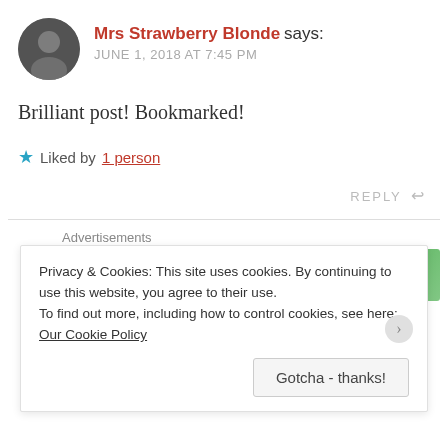[Figure (photo): Circular avatar photo of a person, blurred/dark appearance]
Mrs Strawberry Blonde says:
JUNE 1, 2018 AT 7:45 PM
Brilliant post! Bookmarked!
★ Liked by 1 person
REPLY ↩
[Figure (screenshot): Jetpack advertisement banner - green background with Jetpack logo and text 'Back up your site']
Advertisements
Privacy & Cookies: This site uses cookies. By continuing to use this website, you agree to their use.
To find out more, including how to control cookies, see here: Our Cookie Policy
Gotcha - thanks!